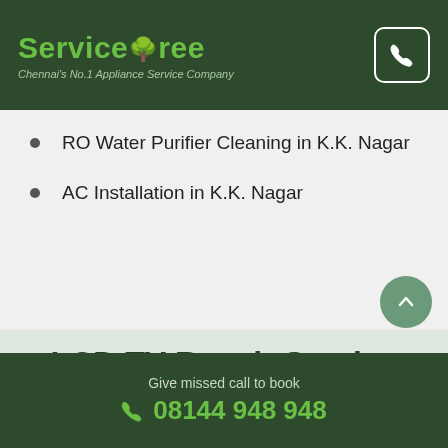ServiceTree — Chennai's No.1 Appliance Service Company
RO Water Purifier Cleaning in K.K. Nagar
AC Installation in K.K. Nagar
LCD TV Repair Service near K.K. Nagar
Give missed call to book 08144 948 948